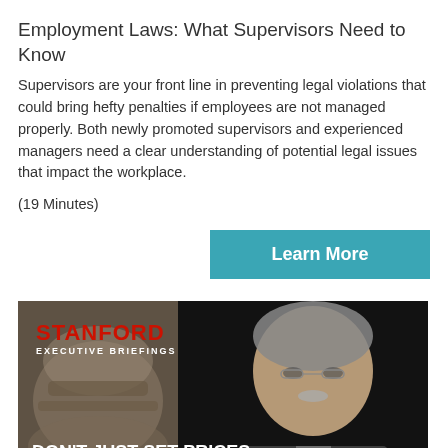Employment Laws: What Supervisors Need to Know
Supervisors are your front line in preventing legal violations that could bring hefty penalties if employees are not managed properly. Both newly promoted supervisors and experienced managers need a clear understanding of potential legal issues that impact the workplace.
(19 Minutes)
Learn More
[Figure (photo): Stanford Executive Briefings promotional image featuring a man with gray hair and glasses against a dark background, with text overlay reading 'DON'T JUST SET PRICES: MANAGE THEM STRATEGICALLY']